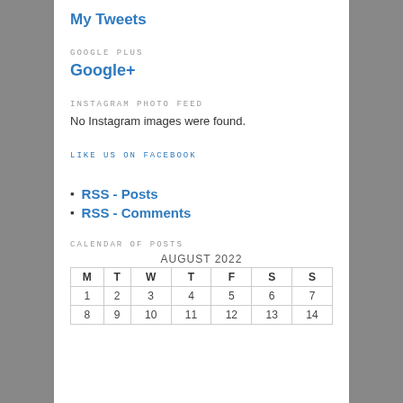My Tweets
GOOGLE PLUS
Google+
INSTAGRAM PHOTO FEED
No Instagram images were found.
LIKE US ON FACEBOOK
RSS - Posts
RSS - Comments
CALENDAR OF POSTS
| M | T | W | T | F | S | S |
| --- | --- | --- | --- | --- | --- | --- |
| 1 | 2 | 3 | 4 | 5 | 6 | 7 |
| 8 | 9 | 10 | 11 | 12 | 13 | 14 |